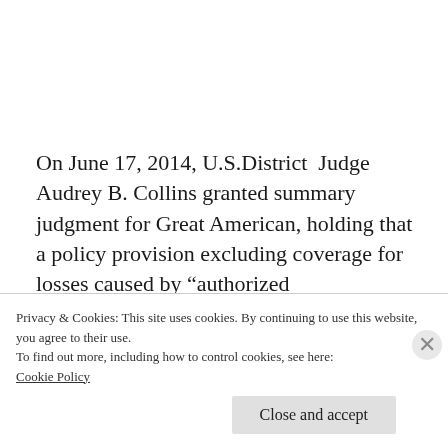On June 17, 2014, U.S.District  Judge Audrey B. Collins granted summary judgment for Great American, holding that a policy provision excluding coverage for losses caused by “authorized representatives” applied to the misconduct of SCCC’s payroll services agent Ron Franklin Payroll Service
Privacy & Cookies: This site uses cookies. By continuing to use this website, you agree to their use.
To find out more, including how to control cookies, see here:
Cookie Policy
Close and accept